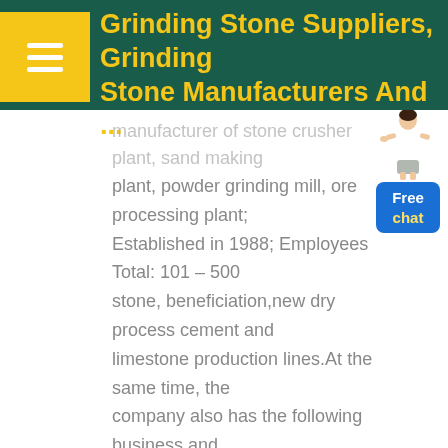Grinding Stone Suppliers, Grinding Stone Manufacturers And ...
manufacturer of stone crusher plant, sand making plant, powder grinding mill, ore processing plant; Established in 1988; Employees Total: 101 - 500 stone, beneficiation,new dry process cement and limestone production lines.At the same time, the company also has the following business and Qualification:Sand and stone engineering design and
[Figure (other): Free chat widget with a businesswoman figure and blue button labeled 'Free chat']
[Figure (other): GET PRICE button in yellow/gold rounded rectangle]
[Figure (photo): Three thumbnail photos of industrial/manufacturing facilities or stone processing plants]